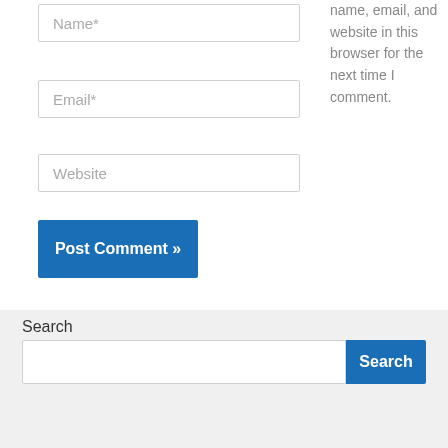Name*
Email*
Website
name, email, and website in this browser for the next time I comment.
Post Comment »
Search
Search
Recent Posts